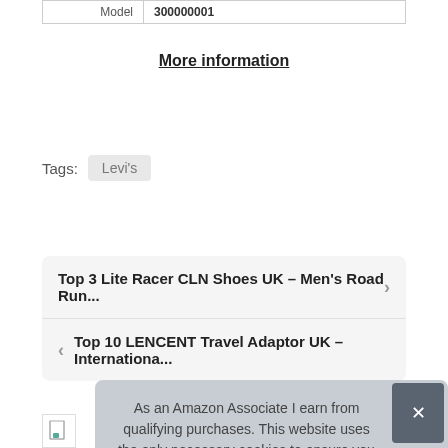| Model | 300000001 |
More information
Tags:  Levi's
Top 3 Lite Racer CLN Shoes UK – Men's Road Run...
Top 10 LENCENT Travel Adaptor UK – Internationa...
As an Amazon Associate I earn from qualifying purchases. This website uses the only necessary cookies to ensure you get the best experience on our website. More information